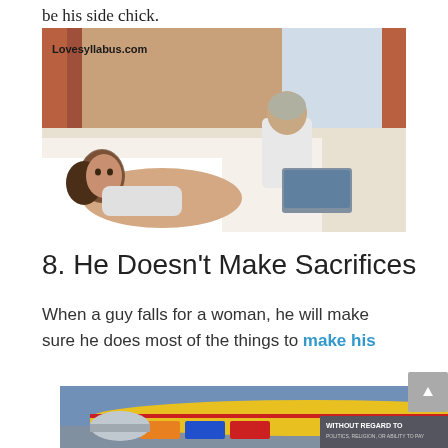be his side chick.
[Figure (photo): A woman lying on a hotel bed looking bored or pensive while a man sits behind her on the bed using a laptop. Watermark reads Lovesyllabus.com.]
8. He Doesn’t Make Sacrifices
When a guy falls for a woman, he will make sure he does most of the things to make his
[Figure (photo): Advertisement banner showing an airplane being loaded with cargo, with text 'WITHOUT REGARD TO POLITICS, RELIGION, OR ABILITY TO PAY']